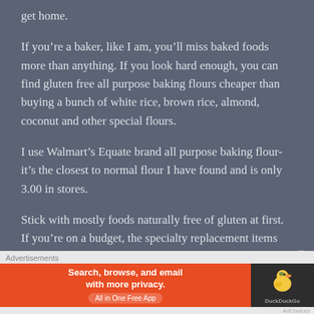get home.
If you’re a baker, like I am, you’ll miss baked foods more than anything. If you look hard enough, you can find gluten free all purpose baking flours cheaper than buying a bunch of white rice, brown rice, almond, coconut and other special flours.
I use Walmart’s Equate brand all purpose baking flour- it’s the closest to normal flour I have found and is only 3.00 in stores.
Stick with mostly foods naturally free of gluten at first. If you’re on a budget, the specialty replacement items
[Figure (screenshot): DuckDuckGo advertisement banner: orange section with text 'Search, browse, and email with more privacy. All in One Free App' and dark section with DuckDuckGo duck logo and 'DuckDuckGo' text]